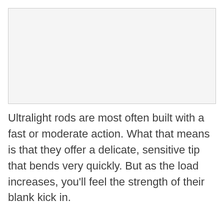[Figure (photo): Image placeholder area, light gray background]
Ultralight rods are most often built with a fast or moderate action. What that means is that they offer a delicate, sensitive tip that bends very quickly. But as the load increases, you'll feel the strength of their blank kick in.